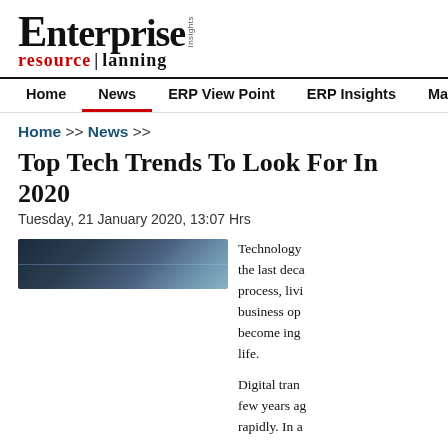Enterprise resource planning Insights
Home | News | ERP View Point | ERP Insights | Magazine
Home >> News >>
Top Tech Trends To Look For In 2020
Tuesday, 21 January 2020, 13:07 Hrs
[Figure (photo): Technology-themed banner image with dark blue network/digital background]
Technology... the last decade... process, living... business op... become ing... life. Digital trans... few years ago... rapidly. In a...
by the industry analyst, research and consulting firm Gartner says th...